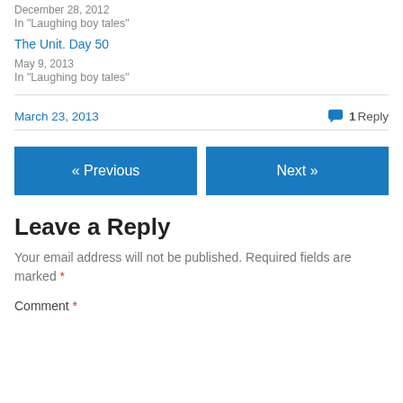December 28, 2012
In "Laughing boy tales"
The Unit. Day 50
May 9, 2013
In "Laughing boy tales"
March 23, 2013   💬 1 Reply
« Previous
Next »
Leave a Reply
Your email address will not be published. Required fields are marked *
Comment *